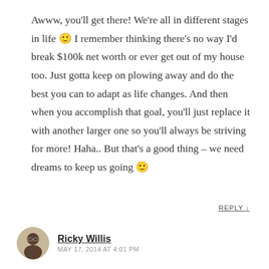Awww, you'll get there! We're all in different stages in life 🙂 I remember thinking there's no way I'd break $100k net worth or ever get out of my house too. Just gotta keep on plowing away and do the best you can to adapt as life changes. And then when you accomplish that goal, you'll just replace it with another larger one so you'll always be striving for more! Haha.. But that's a good thing – we need dreams to keep us going 🙂
REPLY ↓
Ricky Willis
MAY 17, 2014 AT 4:01 PM